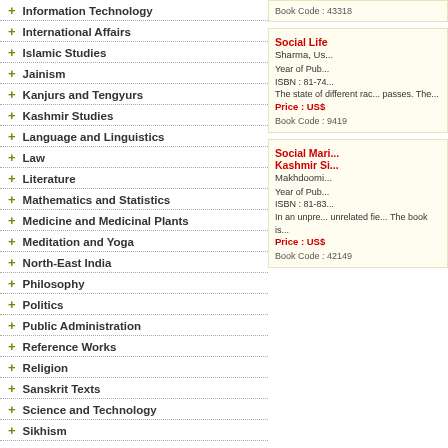+ Information Technology
+ International Affairs
+ Islamic Studies
+ Jainism
+ Kanjurs and Tengyurs
+ Kashmir Studies
+ Language and Linguistics
+ Law
+ Literature
+ Mathematics and Statistics
+ Medicine and Medicinal Plants
+ Meditation and Yoga
+ North-East India
+ Philosophy
+ Politics
+ Public Administration
+ Reference Works
+ Religion
+ Sanskrit Texts
+ Science and Technology
+ Sikhism
+ Sociology
Book Code : 43318
Social Life
Sharma, Us...
Year of Pub...
ISBN : 81-74...
The state of different rac... passes. The...
Price : US$...
Book Code : 9419
Social Mari... Kashmir Si...
Makhdoomi...
Year of Pub...
ISBN : 81-83...
In an unpre... unrelated fie... The book is...
Price : US$...
Book Code : 42149